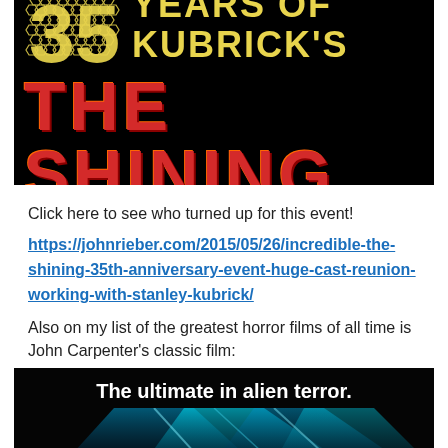[Figure (illustration): 35 Years of Kubrick's The Shining anniversary event banner — black background with large yellow '35', yellow text 'YEARS OF KUBRICK'S', and red distressed text 'THE SHINING']
Click here to see who turned up for this event!
https://johnrieber.com/2015/05/26/incredible-the-shining-35th-anniversary-event-huge-cast-reunion-working-with-stanley-kubrick/
Also on my list of the greatest horror films of all time is John Carpenter's classic film:
[Figure (illustration): Bottom portion of a movie poster on black background with white bold text 'The ultimate in alien terror.' and teal/blue light beam imagery below]